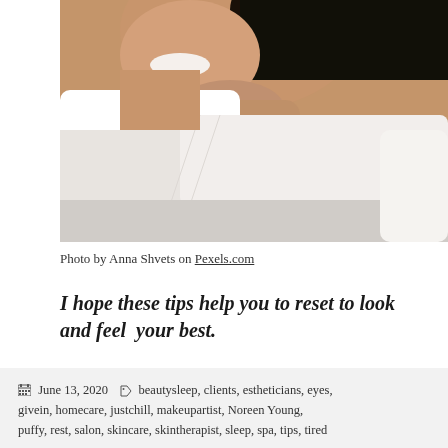[Figure (photo): Woman smiling and lying down with head resting on a white pillow, wearing a white sweater, photo cropped to show face and upper body against a light background.]
Photo by Anna Shvets on Pexels.com
I hope these tips help you to reset to look and feel your best.
June 13, 2020   beautysleep, clients, estheticians, eyes, givein, homecare, justchill, makeupartist, Noreen Young, puffy, rest, salon, skincare, skintherapist, sleep, spa, tips, tired